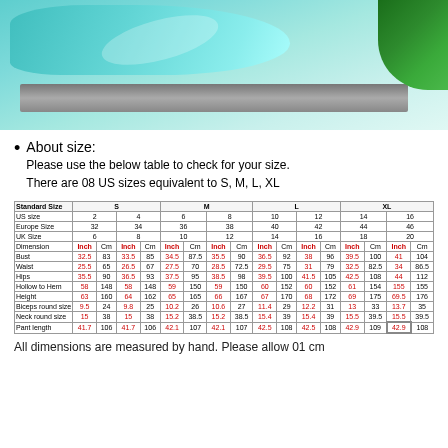[Figure (photo): Woman in teal/turquoise flowing fabric sitting on a stone bench outdoors with green foliage in background]
About size:
Please use the below table to check for your size.
There are 08 US sizes equivalent to S, M, L, XL
| Standard Size | S |  |  |  | M |  |  |  | L |  |  |  | XL |  |  |  |
| --- | --- | --- | --- | --- | --- | --- | --- | --- | --- | --- | --- | --- | --- | --- | --- | --- |
| US size | 2 | 4 | 6 | 8 | 10 | 12 | 14 | 16 |
| Europe Size | 32 | 34 | 36 | 38 | 40 | 42 | 44 | 46 |
| UK Size | 6 | 8 | 10 | 12 | 14 | 16 | 18 | 20 |
| Dimension | Inch | Cm | Inch | Cm | Inch | Cm | Inch | Cm | Inch | Cm | Inch | Cm | Inch | Cm | Inch | Cm |
| Bust | 32.5 | 83 | 33.5 | 85 | 34.5 | 87.5 | 35.5 | 90 | 36.5 | 92 | 38 | 96 | 39.5 | 100 | 41 | 104 |
| Waist | 25.5 | 65 | 26.5 | 67 | 27.5 | 70 | 28.5 | 72.5 | 29.5 | 75 | 31 | 79 | 32.5 | 82.5 | 34 | 86.5 |
| Hips | 35.5 | 90 | 36.5 | 93 | 37.5 | 95 | 38.5 | 98 | 39.5 | 100 | 41.5 | 105 | 42.5 | 108 | 44 | 112 |
| Hollow to Hem | 58 | 148 | 58 | 148 | 59 | 150 | 59 | 150 | 60 | 152 | 60 | 152 | 61 | 154 | 155 | 155 |
| Height | 63 | 160 | 64 | 162 | 65 | 165 | 66 | 167 | 67 | 170 | 68 | 172 | 69 | 175 | 69.5 | 176 |
| Biceps round size | 9.5 | 24 | 9.8 | 25 | 10.2 | 26 | 10.6 | 27 | 11.4 | 29 | 12.2 | 31 | 13 | 33 | 13.7 | 35 |
| Neck round size | 15 | 38 | 15 | 38 | 15.2 | 38.5 | 15.2 | 38.5 | 15.4 | 39 | 15.4 | 39 | 15.5 | 39.5 | 15.5 | 39.5 |
| Pant length | 41.7 | 106 | 41.7 | 106 | 42.1 | 107 | 42.1 | 107 | 42.5 | 108 | 42.5 | 108 | 42.9 | 109 | 42.9 | 108 |
All dimensions are measured by hand. Please allow 01 cm